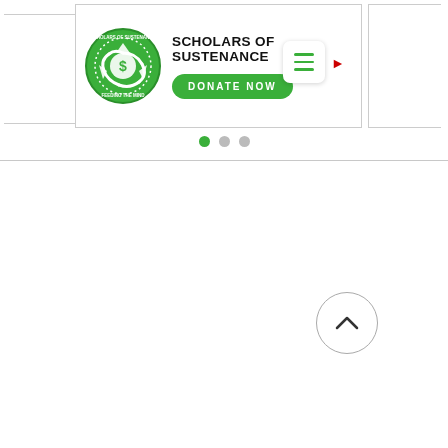[Figure (logo): Scholars of Sustenance circular green logo with recycling arrows and dollar sign, text 'SCHOLARS OF SUSTENANCE FEEDING THE MIND']
SCHOLARS OF SUSTENANCE
[Figure (other): Green rounded rectangle 'DONATE NOW' button]
[Figure (other): Hamburger menu icon in white rounded square with green lines, and a red right-pointing arrow to its right]
[Figure (other): Carousel pagination dots: one green filled dot (active), two grey dots]
[Figure (other): Back-to-top button: circle with upward chevron arrow]